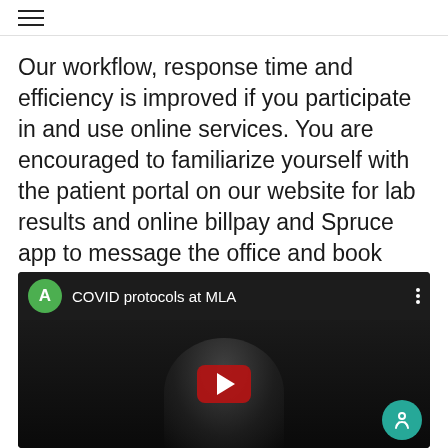≡
Our workflow, response time and efficiency is improved if you participate in and use online services. You are encouraged to familiarize yourself with the patient portal on our website for lab results and online billpay and Spruce app to message the office and book appointments
[Figure (screenshot): Embedded YouTube video thumbnail showing a person in medical attire with title 'COVID protocols at MLA' and a green avatar circle with 'A', YouTube play button, and a teal Spruce app button in the lower right corner.]